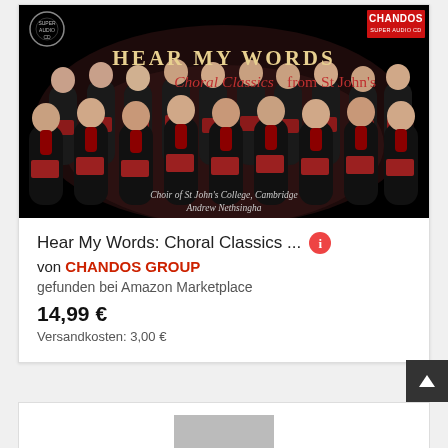[Figure (photo): Album cover for 'Hear My Words: Choral Classics from St John's' on Chandos Super Audio CD label. Dark background with choir members in black robes with red accents. Text includes album title in gold and red, and 'Choir of St John's College, Cambridge / Andrew Nethsingha' at bottom.]
Hear My Words: Choral Classics ...
von CHANDOS GROUP
gefunden bei Amazon Marketplace
14,99 €
Versandkosten: 3,00 €